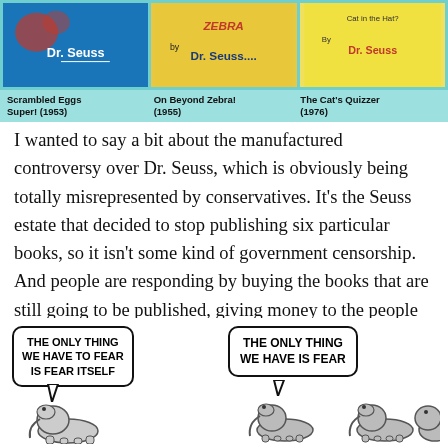[Figure (illustration): Three Dr. Seuss book covers on a teal background: Scrambled Eggs Super! (1953), On Beyond Zebra! (1955), The Cat's Quizzer (1976)]
Scrambled Eggs Super! (1953)    On Beyond Zebra! (1955)    The Cat's Quizzer (1976)
I wanted to say a bit about the manufactured controversy over Dr. Seuss, which is obviously being totally misrepresented by conservatives. It's the Seuss estate that decided to stop publishing six particular books, so it isn't some kind of government censorship. And people are responding by buying the books that are still going to be published, giving money to the people they're mad at. Some of them are also misspelling his name as “Suess.”
[Figure (illustration): Two-panel cartoon. Left panel: speech bubble saying 'THE ONLY THING WE HAVE TO FEAR IS FEAR ITSELF' with an elephant below. Right panel: speech bubble saying 'THE ONLY THING WE HAVE IS FEAR' with two elephants below.]